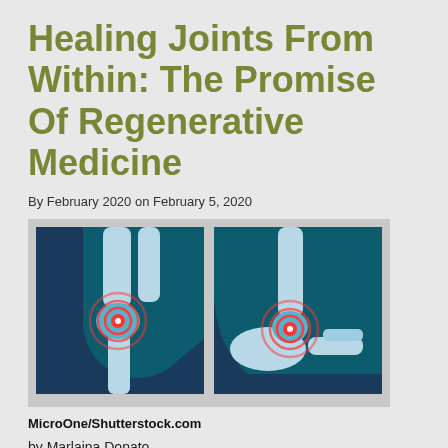Healing Joints From Within: The Promise Of Regenerative Medicine
By February 2020 on February 5, 2020
[Figure (illustration): Medical illustration showing two joint X-ray style images: a knee joint and an ankle/foot joint, both with red concentric circle pain indicators overlaid on the joints. Blue and dark teal medical illustration style on gray background.]
MicroOne/Shutterstock.com
by Marlaina Donato
Someday, medical science will allow us to